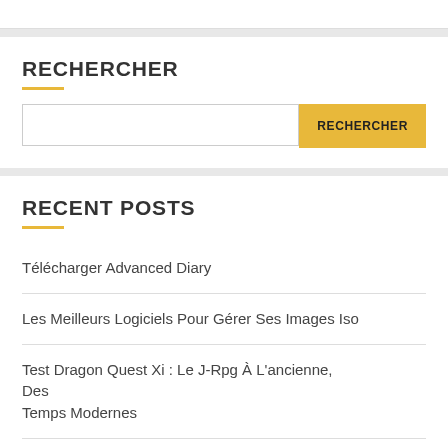RECHERCHER
[Figure (screenshot): Search input field with a yellow RECHERCHER button]
RECENT POSTS
Télécharger Advanced Diary
Les Meilleurs Logiciels Pour Gérer Ses Images Iso
Test Dragon Quest Xi : Le J-Rpg À L'ancienne, Des Temps Modernes
Test De L'oppo Find X3 Pro : Une Étoile Est Née